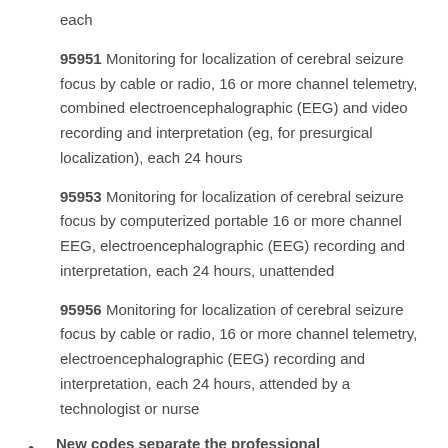each
95951 Monitoring for localization of cerebral seizure focus by cable or radio, 16 or more channel telemetry, combined electroencephalographic (EEG) and video recording and interpretation (eg, for presurgical localization), each 24 hours
95953 Monitoring for localization of cerebral seizure focus by computerized portable 16 or more channel EEG, electroencephalographic (EEG) recording and interpretation, each 24 hours, unattended
95956 Monitoring for localization of cerebral seizure focus by cable or radio, 16 or more channel telemetry, electroencephalographic (EEG) recording and interpretation, each 24 hours, attended by a technologist or nurse
New codes separate the professional